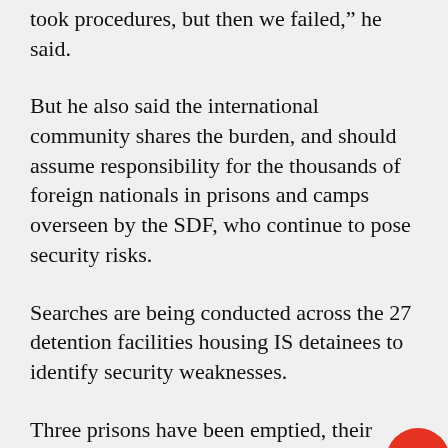took procedures, but then we failed,” he said.
But he also said the international community shares the burden, and should assume responsibility for the thousands of foreign nationals in prisons and camps overseen by the SDF, who continue to pose security risks.
Searches are being conducted across the 27 detention facilities housing IS detainees to identify security weaknesses.
Three prisons have been emptied, their inmates scattered to different facilities.
Abdi declined to name the facilities, but said two were close to the Turkish frontier, where bombardment is